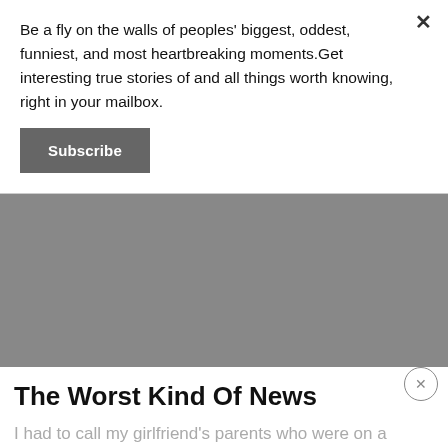Be a fly on the walls of peoples' biggest, oddest, funniest, and most heartbreaking moments.Get interesting true stories of and all things worth knowing, right in your mailbox.
[Figure (other): Gray rectangular advertisement or image placeholder block]
The Worst Kind Of News
I had to call my girlfriend's parents who were on a cross-country trip to tell them. I was at the